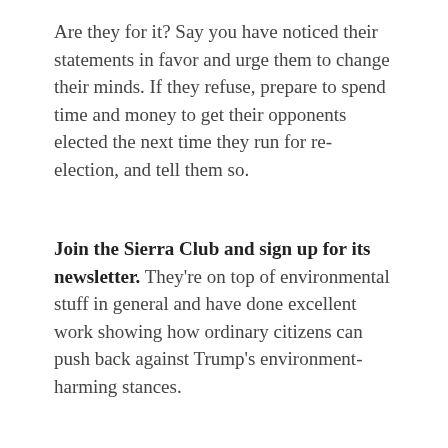Are they for it? Say you have noticed their statements in favor and urge them to change their minds. If they refuse, prepare to spend time and money to get their opponents elected the next time they run for re-election, and tell them so.
Join the Sierra Club and sign up for its newsletter. They're on top of environmental stuff in general and have done excellent work showing how ordinary citizens can push back against Trump's environment-harming stances.
Ask your state governor to join the United States Climate Alliance. Launched on June 1, it's a group of